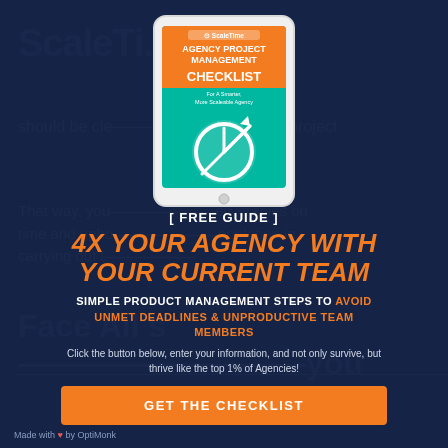[Figure (illustration): Tablet device displaying the ScaleTime Agency Project Management Checklist e-book cover with orange/teal design and clock/arrow graphic]
[ FREE GUIDE ]
4X YOUR AGENCY WITH YOUR CURRENT TEAM
SIMPLE PRODUCT MANAGEMENT STEPS TO AVOID UNMET DEADLINES & UNPRODUCTIVE TEAM MEMBERS
Click the button below, enter your information, and not only survive, but thrive like the top 1% of Agencies!
GET THE CHECKLIST
Made with ♥ by OptiMonk